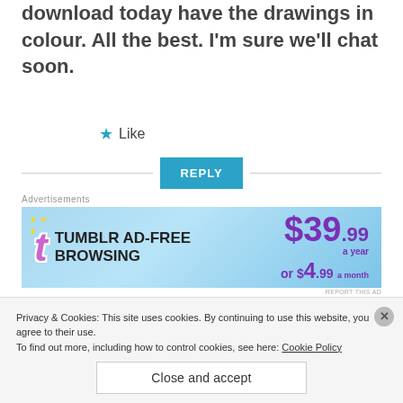download today have the drawings in colour. All the best. I'm sure we'll chat soon.
★ Like
REPLY
Advertisements
[Figure (screenshot): Tumblr Ad-Free Browsing banner advertisement showing $39.99 a year or $4.99 a month]
REPORT THIS AD
Privacy & Cookies: This site uses cookies. By continuing to use this website, you agree to their use. To find out more, including how to control cookies, see here: Cookie Policy
Close and accept